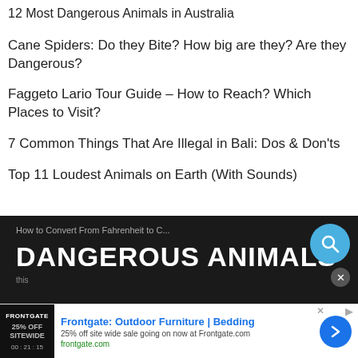12 Most Dangerous Animals in Australia
Cane Spiders: Do they Bite? How big are they? Are they Dangerous?
Faggeto Lario Tour Guide – How to Reach? Which Places to Visit?
7 Common Things That Are Illegal in Bali: Dos & Don'ts
Top 11 Loudest Animals on Earth (With Sounds)
[Figure (screenshot): Dark-background video overlay banner with text 'How to Convert From Fahrenheit to C...' and large bold text 'DANGEROUS ANIMALS' with a blue search icon button and a close button]
[Figure (screenshot): Advertisement banner for Frontgate: Outdoor Furniture | Bedding. '25% off site wide sale going on now at Frontgate.com'. frontgate.com. Shows a dark product image on left and blue arrow button on right.]